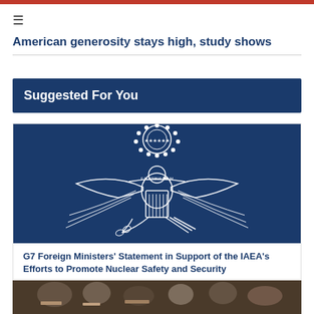≡
American generosity stays high, study shows
Suggested For You
[Figure (illustration): US Great Seal emblem — white line art of the American eagle with shield, olive branch, and arrows on a dark navy blue background]
G7 Foreign Ministers' Statement in Support of the IAEA's Efforts to Promote Nuclear Safety and Security
[Figure (photo): Photo of people at a gathering or event, partially visible at the bottom of the page]